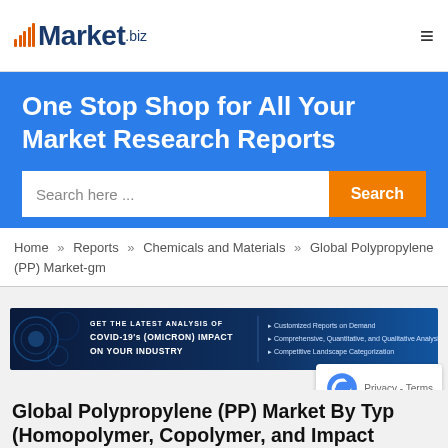Market.biz
One Stop Shop for All Your Market Research Reports
Search here ...
Home » Reports » Chemicals and Materials » Global Polypropylene (PP) Market-gm
[Figure (infographic): GET THE LATEST ANALYSIS OF COVID-19's (OMICRON) IMPACT ON YOUR INDUSTRY. Customized Reports on Demand. Comprehensive, Quantitative, and Qualitative Analysis. Competitive Landscape Categorization.]
Global Polypropylene (PP) Market By Typ (Homopolymer, Copolymer, and Impact